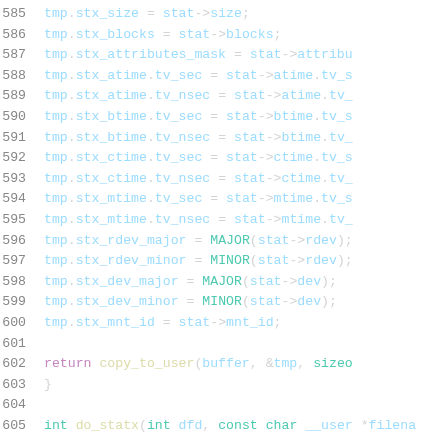585    tmp.stx_size = stat->size;
586    tmp.stx_blocks = stat->blocks;
587    tmp.stx_attributes_mask = stat->attribu
588    tmp.stx_atime.tv_sec = stat->atime.tv_s
589    tmp.stx_atime.tv_nsec = stat->atime.tv_
590    tmp.stx_btime.tv_sec = stat->btime.tv_s
591    tmp.stx_btime.tv_nsec = stat->btime.tv_
592    tmp.stx_ctime.tv_sec = stat->ctime.tv_s
593    tmp.stx_ctime.tv_nsec = stat->ctime.tv_
594    tmp.stx_mtime.tv_sec = stat->mtime.tv_s
595    tmp.stx_mtime.tv_nsec = stat->mtime.tv_
596    tmp.stx_rdev_major = MAJOR(stat->rdev);
597    tmp.stx_rdev_minor = MINOR(stat->rdev);
598    tmp.stx_dev_major = MAJOR(stat->dev);
599    tmp.stx_dev_minor = MINOR(stat->dev);
600    tmp.stx_mnt_id = stat->mnt_id;
601
602    return copy_to_user(buffer, &tmp, sizeo
603  }
604
605  int do_statx(int dfd, const char __user *filena